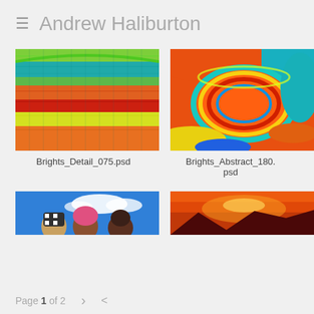≡  Andrew Haliburton
[Figure (photo): Close-up detail of a colorful woven basket with rainbow stripes (green, teal, orange, red, yellow)]
Brights_Detail_075.psd
[Figure (photo): Collection of colorful woven bowls in orange, teal, yellow, blue and red viewed from above/side]
Brights_Abstract_180.psd
[Figure (photo): Partial view of three people wearing colorful head coverings against a blue sky with clouds]
[Figure (photo): Partial view of a dramatic orange/red sunset over mountains]
Page 1 of 2